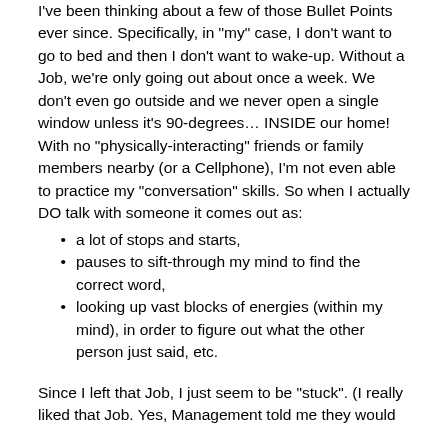I've been thinking about a few of those Bullet Points ever since. Specifically, in “my” case, I don’t want to go to bed and then I don’t want to wake-up. Without a Job, we’re only going out about once a week. We don’t even go outside and we never open a single window unless it’s 90-degrees… INSIDE our home! With no “physically-interacting” friends or family members nearby (or a Cellphone), I’m not even able to practice my “conversation” skills. So when I actually DO talk with someone it comes out as:
a lot of stops and starts,
pauses to sift-through my mind to find the correct word,
looking up vast blocks of energies (within my mind), in order to figure out what the other person just said, etc.
Since I left that Job, I just seem to be “stuck”. (I really liked that Job. Yes, Management told me they would